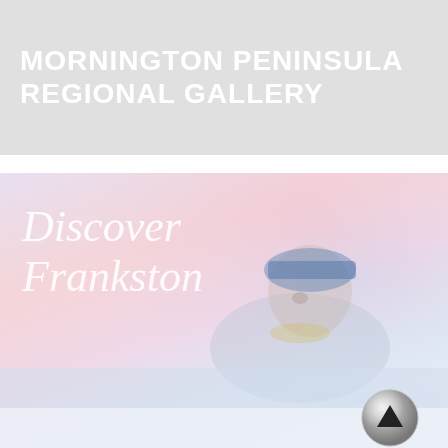MORNINGTON PENINSULA REGIONAL GALLERY
[Figure (illustration): Promotional image for 'Discover Frankston' featuring illustrated text in white cursive script overlaid on a soft pastel gradient background (pink, lavender, blue tones) with a faint illustration of a child wearing a blue hat lying down, reflected in water below. A circular scroll-to-top button with an upward arrow is visible in the bottom-right corner.]